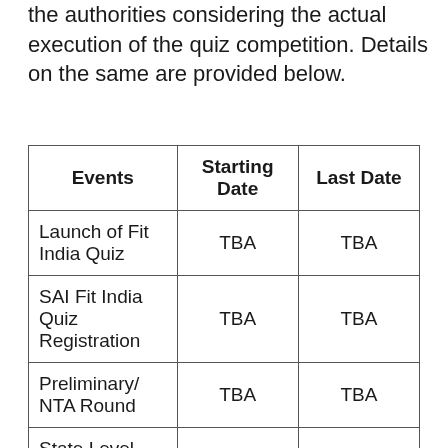the authorities considering the actual execution of the quiz competition. Details on the same are provided below.
| Events | Starting Date | Last Date |
| --- | --- | --- |
| Launch of Fit India Quiz | TBA | TBA |
| SAI Fit India Quiz Registration | TBA | TBA |
| Preliminary/ NTA Round | TBA | TBA |
| State Level Round | TBA | TBA |